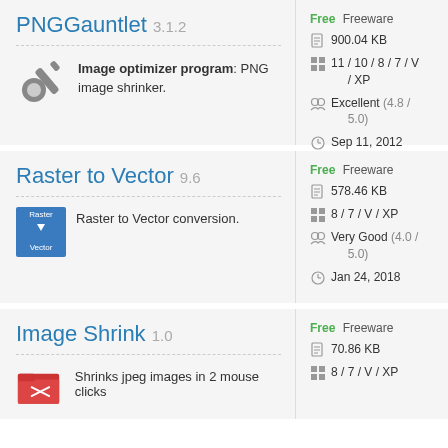PNGGauntlet 3.1.2
Image optimizer program: PNG image shrinker.
Free Freeware
900.04 KB
11 / 10 / 8 / 7 / V / XP
Excellent (4.8 / 5.0)
Sep 11, 2012
Raster to Vector 9.6
Raster to Vector conversion.
Free Freeware
578.46 KB
8 / 7 / V / XP
Very Good (4.0 / 5.0)
Jan 24, 2018
Image Shrink 1.0
Shrinks jpeg images in 2 mouse clicks
Free Freeware
70.86 KB
8 / 7 / V / XP